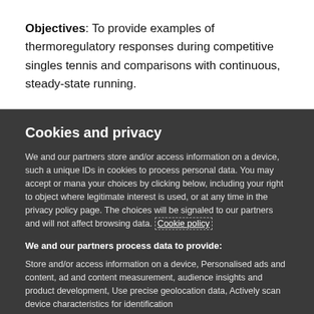Objectives: To provide examples of thermoregulatory responses during competitive singles tennis and comparisons with continuous, steady-state running.
Cookies and privacy
We and our partners store and/or access information on a device, such as unique IDs in cookies to process personal data. You may accept or manage your choices by clicking below, including your right to object where legitimate interest is used, or at any time in the privacy policy page. These choices will be signaled to our partners and will not affect browsing data. Cookie policy
We and our partners process data to provide:
Store and/or access information on a device, Personalised ads and content, ad and content measurement, audience insights and product development, Use precise geolocation data, Actively scan device characteristics for identification
List of Partners (vendors)